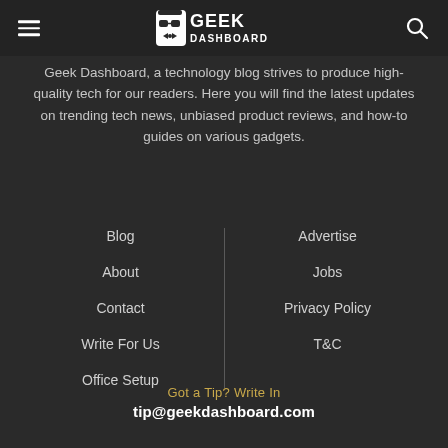Geek Dashboard
Geek Dashboard, a technology blog strives to produce high-quality tech for our readers. Here you will find the latest updates on trending tech news, unbiased product reviews, and how-to guides on various gadgets.
Blog
About
Contact
Write For Us
Office Setup
Advertise
Jobs
Privacy Policy
T&C
Got a Tip? Write In
tip@geekdashboard.com